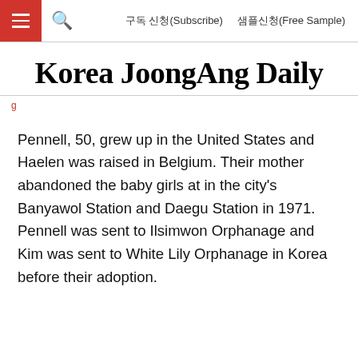구독 신청(Subscribe)   샘플신청(Free Sample)
Korea JoongAng Daily
Pennell, 50, grew up in the United States and Haelen was raised in Belgium. Their mother abandoned the baby girls at in the city's Banyawol Station and Daegu Station in 1971. Pennell was sent to Ilsimwon Orphanage and Kim was sent to White Lily Orphanage in Korea before their adoption.